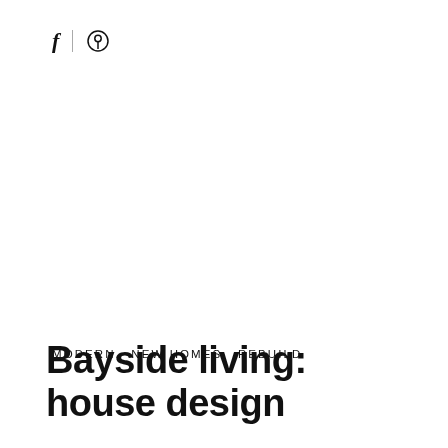f | ⊕
MODERN,  NEW HOMES,  REBUILD
Bayside living: house design